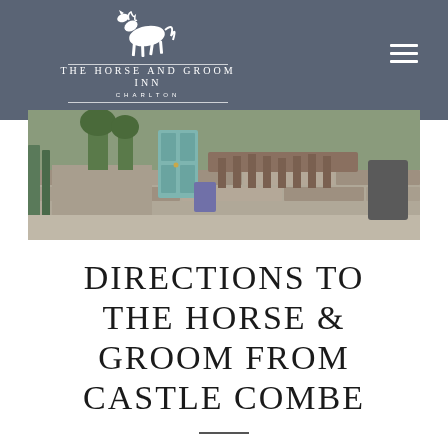The Horse and Groom Inn — Charlton
[Figure (photo): Exterior photograph of The Horse and Groom Inn showing a stone wall, blue door, and courtyard area]
DIRECTIONS TO THE HORSE & GROOM FROM CASTLE COMBE